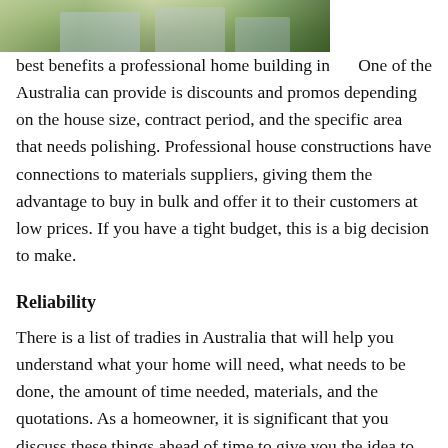[Figure (photo): Partial view of a photo strip showing buildings and greenery, cropped at the top of the page]
One of the best benefits a professional home building in Australia can provide is discounts and promos depending on the house size, contract period, and the specific area that needs polishing. Professional house constructions have connections to materials suppliers, giving them the advantage to buy in bulk and offer it to their customers at low prices. If you have a tight budget, this is a big decision to make.
Reliability
There is a list of tradies in Australia that will help you understand what your home will need, what needs to be done, the amount of time needed, materials, and the quotations. As a homeowner, it is significant that you discuss these things ahead of time to give you the idea to make sure that the project is on track to your vision.